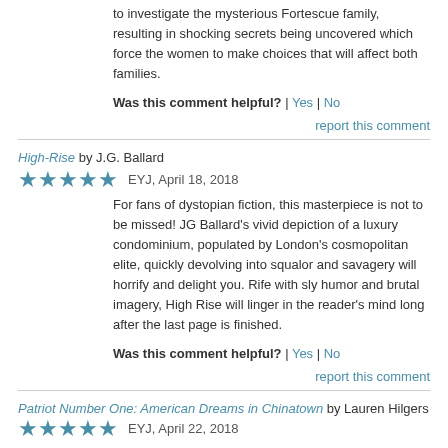to investigate the mysterious Fortescue family, resulting in shocking secrets being uncovered which force the women to make choices that will affect both families.
Was this comment helpful? | Yes | No
report this comment
High-Rise by J.G. Ballard
EYJ, April 18, 2018
For fans of dystopian fiction, this masterpiece is not to be missed! JG Ballard's vivid depiction of a luxury condominium, populated by London's cosmopolitan elite, quickly devolving into squalor and savagery will horrify and delight you. Rife with sly humor and brutal imagery, High Rise will linger in the reader's mind long after the last page is finished.
Was this comment helpful? | Yes | No
report this comment
Patriot Number One: American Dreams in Chinatown by Lauren Hilgers
EYJ, April 22, 2018